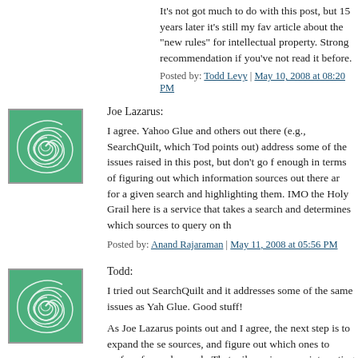It's not got much to do with this post, but 15 years later it's still my fav article about the "new rules" for intellectual property. Strong recommendation if you've not read it before.
Posted by: Todd Levy | May 10, 2008 at 08:20 PM
Joe Lazarus:
I agree. Yahoo Glue and others out there (e.g., SearchQuilt, which Todd points out) address some of the issues raised in this post, but don't go f enough in terms of figuring out which information sources out there ar for a given search and highlighting them. IMO the Holy Grail here is a service that takes a search and determines which sources to query on th
Posted by: Anand Rajaraman | May 11, 2008 at 05:56 PM
Todd:
I tried out SearchQuilt and it addresses some of the same issues as Yah Glue. Good stuff!
As Joe Lazarus points out and I agree, the next step is to expand the se sources, and figure out which ones to surface for each search. That wil require some interesting algorithms.
Posted by: Anand Rajaraman | May 11, 2008 at 05:57 PM